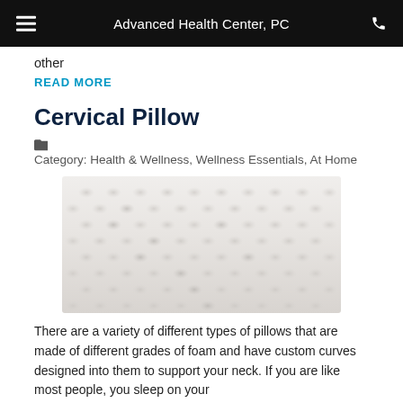Advanced Health Center, PC
other
READ MORE
Cervical Pillow
Category: Health & Wellness, Wellness Essentials, At Home
[Figure (photo): Close-up photo of a white cervical foam pillow with a textured surface showing indentations in a regular pattern.]
There are a variety of different types of pillows that are made of different grades of foam and have custom curves designed into them to support your neck. If you are like most people, you sleep on your